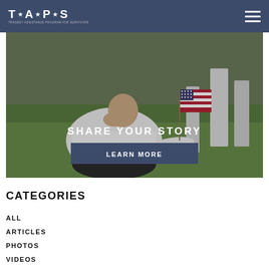TAPS — Tragedy Assistance Program for Survivors
[Figure (photo): Person in white sweatshirt sitting at a grave marker in a cemetery, with an American flag in the background. Overlay text reads SHARE YOUR STORY with a LEARN MORE button.]
CATEGORIES
ALL
ARTICLES
PHOTOS
VIDEOS